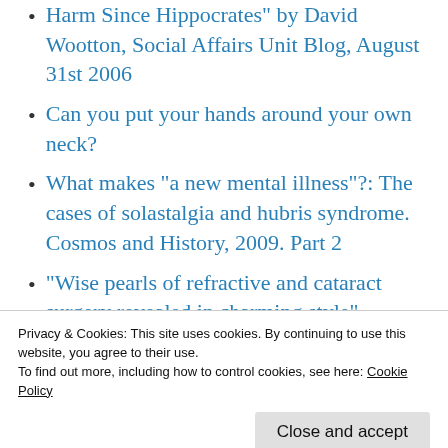Harm Since Hippocrates" by David Wootton, Social Affairs Unit Blog, August 31st 2006
Can you put your hands around your own neck?
What makes “a new mental illness”?: The cases of solastalgia and hubris syndrome. Cosmos and History, 2009. Part 2
"Wise pearls of refractive and cataract surgery revealed in charming style" review of 101 Pearls In Refractive, Cataract and Corneal Surgery. Frontiers Jan 2007
Privacy & Cookies: This site uses cookies. By continuing to use this website, you agree to their use.
To find out more, including how to control cookies, see here: Cookie Policy
Bokhove: "This is the new m*th!"